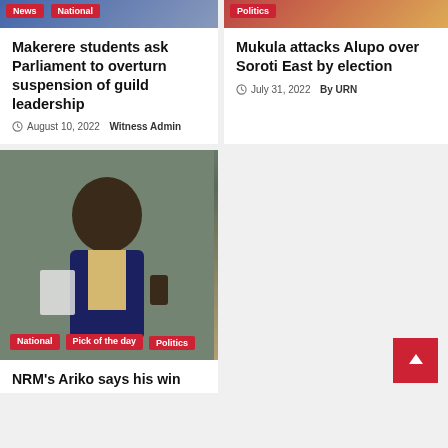[Figure (photo): Top image strip for news article left - National tag overlay]
Makerere students ask Parliament to overturn suspension of guild leadership
August 10, 2022  Witness Admin
[Figure (photo): Top image strip for news article right - Politics tag overlay]
Mukula attacks Alupo over Soroti East by election
July 31, 2022  By URN
[Figure (photo): Man in blue suit holding paper giving thumbs up - National, Pick of the day, Politics tags]
NRM's Ariko says his win